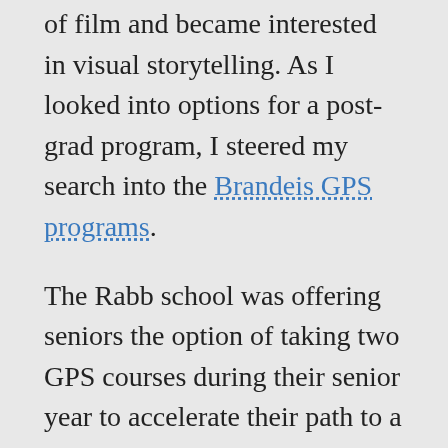of film and became interested in visual storytelling. As I looked into options for a post-grad program, I steered my search into the Brandeis GPS programs.
The Rabb school was offering seniors the option of taking two GPS courses during their senior year to accelerate their path to a potential master's degree. Excited about this opportunity, I decided to take two courses in the MS in Digital Marketing and Design program. Digital marketing is a large part of today's social and business climates, as it uses digital technologies for storytelling, communication and to market products and services. So, the program appealed to me as both a creator and a soon-to-be Brandeis alum.
It was then that it became clear to me that the Digital Marketing and Design Program was the best fit for my needs. Not only was I able to complete two of the